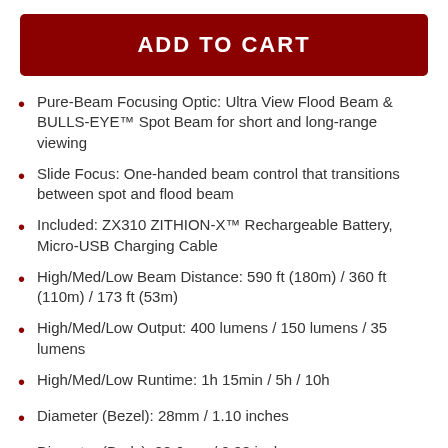ADD TO CART
Pure-Beam Focusing Optic: Ultra View Flood Beam & BULLS-EYE™ Spot Beam for short and long-range viewing
Slide Focus: One-handed beam control that transitions between spot and flood beam
Included: ZX310 ZITHION-X™ Rechargeable Battery, Micro-USB Charging Cable
High/Med/Low Beam Distance: 590 ft (180m) / 360 ft (110m) / 173 ft (53m)
High/Med/Low Output: 400 lumens / 150 lumens / 35 lumens
High/Med/Low Runtime: 1h 15min / 5h / 10h
Diameter (Bezel): 28mm / 1.10 inches
Diameter (Body): 23.6mm / 0.93 inches